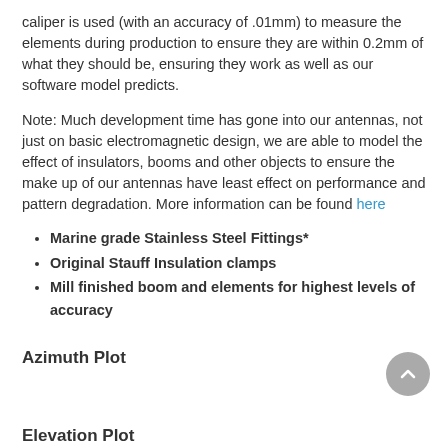caliper is used (with an accuracy of .01mm) to measure the elements during production to ensure they are within 0.2mm of what they should be, ensuring they work as well as our software model predicts.
Note: Much development time has gone into our antennas, not just on basic electromagnetic design, we are able to model the effect of insulators, booms and other objects to ensure the make up of our antennas have least effect on performance and pattern degradation. More information can be found here
Marine grade Stainless Steel Fittings*
Original Stauff Insulation clamps
Mill finished boom and elements for highest levels of accuracy
Azimuth Plot
Elevation Plot